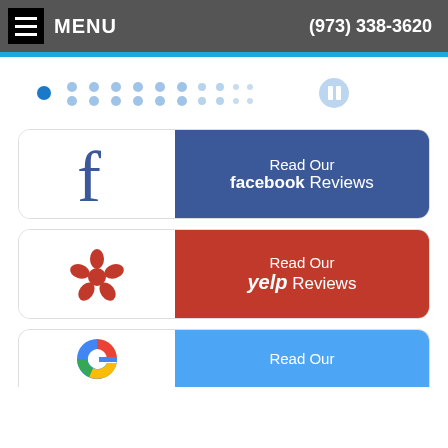MENU   (973) 338-3620
[Figure (other): Navigation dots / slideshow controls showing one solid blue dot on the left, multiple smaller lighter dots in the middle, and a pause icon on the right]
[Figure (other): Button: Read Our facebook Reviews — Facebook logo on left white section, blue right section with text]
[Figure (other): Button: Read Our yelp Reviews — Yelp logo on left white section, red right section with text]
[Figure (other): Partial button: Read Our (Google Reviews) — Google G logo on left white section, blue right section with text, cropped at bottom]